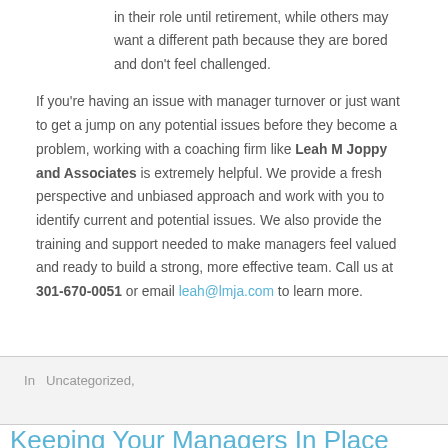in their role until retirement, while others may want a different path because they are bored and don't feel challenged.
If you're having an issue with manager turnover or just want to get a jump on any potential issues before they become a problem, working with a coaching firm like Leah M Joppy and Associates is extremely helpful. We provide a fresh perspective and unbiased approach and work with you to identify current and potential issues. We also provide the training and support needed to make managers feel valued and ready to build a strong, more effective team. Call us at 301-670-0051 or email leah@lmja.com to learn more.
In  Uncategorized,
Keeping Your Managers In Place
LMJA Blog – June 21, 2022
When it